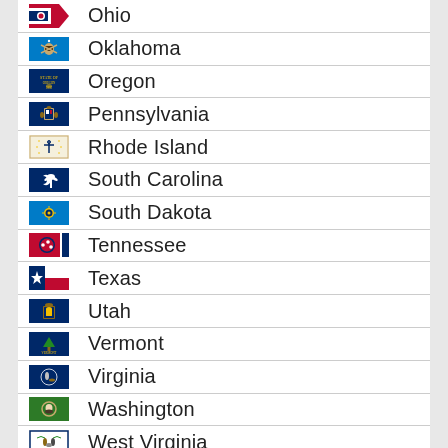Ohio
Oklahoma
Oregon
Pennsylvania
Rhode Island
South Carolina
South Dakota
Tennessee
Texas
Utah
Vermont
Virginia
Washington
West Virginia